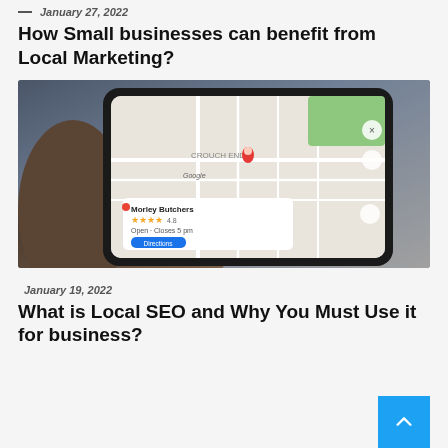— January 27, 2022
How Small businesses can benefit from Local Marketing?
[Figure (photo): A hand holding a smartphone displaying Google Maps with a red location pin, showing a local business listing for 'Morley Butchers' with star ratings and a Directions button]
— January 19, 2022
What is Local SEO and Why You Must Use it for business?